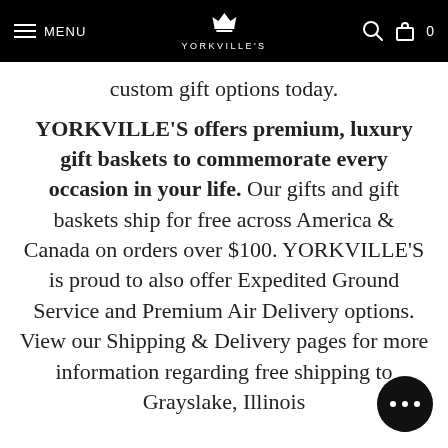MENU | YORKVILLE'S | 0
custom gift options today.
YORKVILLE'S offers premium, luxury gift baskets to commemorate every occasion in your life. Our gifts and gift baskets ship for free across America & Canada on orders over $100. YORKVILLE'S is proud to also offer Expedited Ground Service and Premium Air Delivery options. View our Shipping & Delivery pages for more information regarding free shipping to Grayslake, Illinois